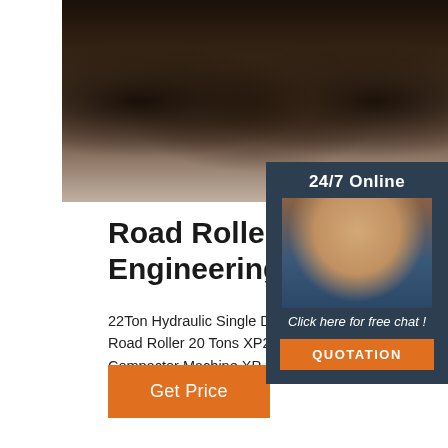[Figure (photo): Close-up photo of industrial road rollers or cylindrical objects on wooden pallets in a warehouse/showroom setting]
[Figure (photo): Chat support panel with woman wearing headset, 24/7 Online label, Click here for free chat text, and QUOTATION button]
Road Rollers Agent: Cruking Engineering Equipment
22Ton Hydraulic Single Drive Single Drum Vib Roller Compactor XS223J ... Inquire Chat. Chi Official Tire Road Roller 20 Tons XP203. US$ 40000 Unit. 1 (Min. Order) Inquire Chat. Hot S TON Tire Road Roller Compactor Machine XP 39000 ... High quality 26 Ton Diesel Engine Pneumatic Tire Road Roller XP263 ...
Get Price